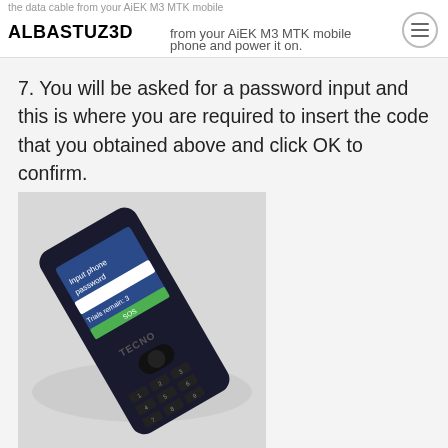the data cable from your AiEK M3 MTK mobile phone and power it on. ALBASTUZ3D
7. You will be asked for a password input and this is where you are required to insert the code that you obtained above and click OK to confirm.
[Figure (photo): A TECNO feature phone lying at an angle on a light surface. The phone screen displays 'Input phone password' with a text input field and text 'Trials remain: 3' and a green SOS button at the bottom of the screen. The phone has a numeric keypad visible.]